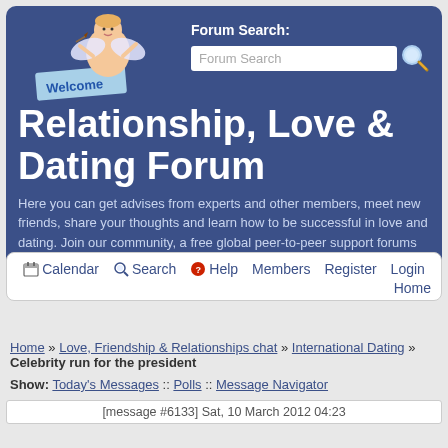Forum Search: [search box]
Relationship, Love & Dating Forum
Here you can get advises from experts and other members, meet new friends, share your thoughts and learn how to be successful in love and dating. Join our community, a free global peer-to-peer support forums targeted for interpersonal relationships focused on online dating.
Calendar  Search  Help  Members  Register  Login  Home
Home » Love, Friendship & Relationships chat » International Dating » Celebrity run for the president
Show: Today's Messages :: Polls :: Message Navigator
[message #6133] Sat, 10 March 2012 04:23